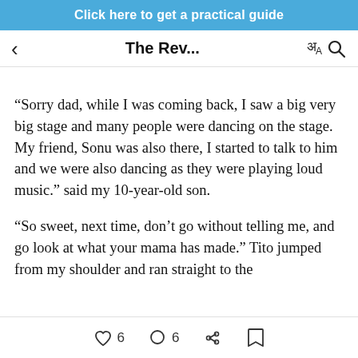Click here to get a practical guide
The Rev...
“Sorry dad, while I was coming back, I saw a big very big stage and many people were dancing on the stage. My friend, Sonu was also there, I started to talk to him and we were also dancing as they were playing loud music.” said my 10-year-old son.
“So sweet, next time, don’t go without telling me, and go look at what your mama has made.” Tito jumped from my shoulder and ran straight to the
6  6